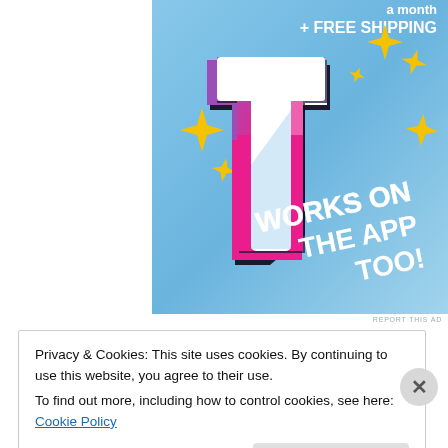[Figure (screenshot): Tumblr advertisement with light blue sky background. Shows Tumblr 't' logo in pink/purple/white colors with yellow sparkles. Bold white text reads 'a month', '+ FREE SHIPPING', and 'WORKS ON THE APP TOO!' diagonally.]
REPORT THIS AD
Privacy & Cookies: This site uses cookies. By continuing to use this website, you agree to their use.
To find out more, including how to control cookies, see here: Cookie Policy
Close and accept